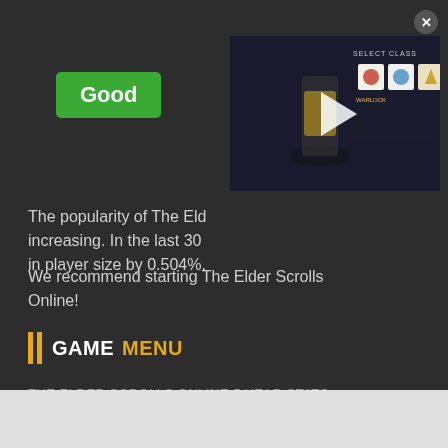Good
[Figure (screenshot): Video thumbnail showing a Destiny 2 Warlock character in yellow armor with class selection screen showing three class icons]
The popularity of The Eld... increasing. In the last 30... in player size by 0.504%.
We recommend starting The Elder Scrolls Online!
GAME MENU
THE ELDER SCROLLS ONLINE 5 YEAR STATS
MOST PLAYED MMOS
POPULAR GAMES